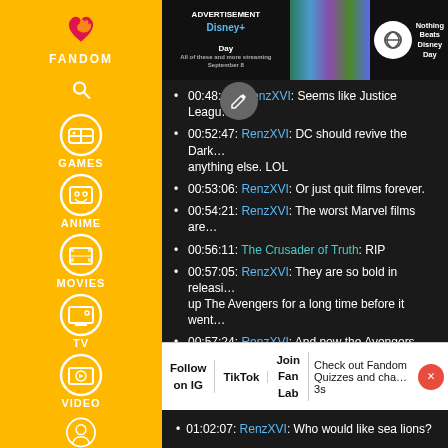[Figure (screenshot): Fandom website sidebar with yellow background showing navigation icons for FANDOM, Games, Anime, Movies, TV, Video, and user profile]
[Figure (screenshot): Advertisement banner for Disney+ Day at the top of the main content area]
00:48:48: RenzXVI: Seems like Justice Leagu…
00:52:47: RenzXVI: DC should revive the Dark… anything else. LOL
00:53:06: RenzXVI: Or just quit films forever.
00:54:21: RenzXVI: The worst Marvel films are…
00:56:11: The Crusader of Truth: RIP
00:57:05: RenzXVI: They are so bold in releasin… up The Avengers for a long time before it went…
00:57:24: RenzXVI: And now the Avengers has… they are doing so it doesn't get old.
00:57:35: RenzXVI: DC fails before it starts.
00:58:03: The Crusader of Truth: Like me basi…
00:59:17: RenzXVI: Nah, DC just screwed them… cursed, even if they give him an effective scar…
Follow on IG | TikTok | Join Fan Lab | Check out Fandom Quizzes and cha… 3s
01:02:07: RenzXVI: Who would like sea lions?